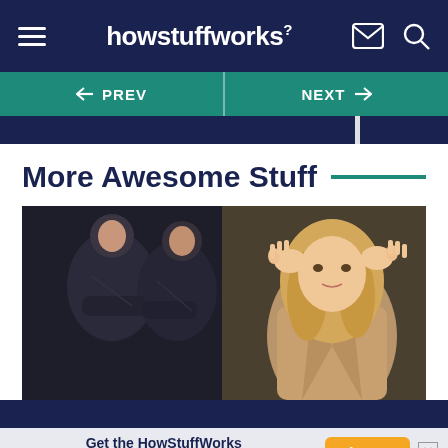howstuffworks
More Awesome Stuff
[Figure (screenshot): Movie or TV show scene: armored/costumed figures on left, blonde woman in tan jacket with hands raised to head on right]
Get the HowStuffWorks Newsletter!
Sign Up